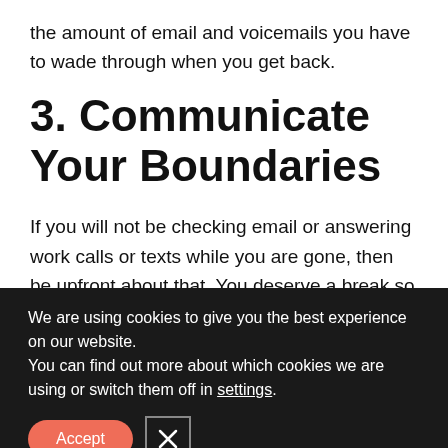the amount of email and voicemails you have to wade through when you get back.
3. Communicate Your Boundaries
If you will not be checking email or answering work calls or texts while you are gone, then be upfront about that. You deserve a break so don't feel bad at all, but you do need to relay those expectations to
We are using cookies to give you the best experience on our website.
You can find out more about which cookies we are using or switch them off in settings.